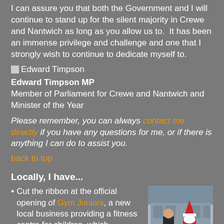I can assure you that both the Government and I will continue to stand up for the silent majority in Crewe and Nantwich as long as you allow us to.  It has been an immense privilege and challenge and one that I strongly wish to continue to dedicate myself to.
[Figure (photo): Signature image of Edward Timpson]
Edward Timpson MP
Member of Parliament for Crewe and Nantwich and Minister of the Year
Please remember, you can always contact me directly if you have any questions for me, or if there is anything I can do to assist you.
back to top
Locally, I have...
Cut the ribbon at the official opening of Gym Juniors, a new local business providing a fitness centre for children, which
[Figure (photo): Photo of Edward Timpson standing with a person dressed as Santa Claus outdoors]